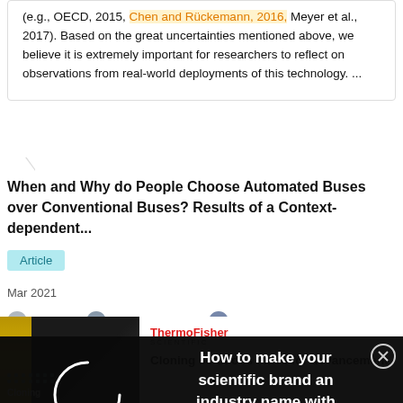(e.g., OECD, 2015, Chen and Rückemann, 2016, Meyer et al., 2017). Based on the great uncertainties mentioned above, we believe it is extremely important for researchers to reflect on observations from real-world deployments of this technology. ...
When and Why do People Choose Automated Buses over Conventional Buses? Results of a Context-dependent...
Article
Mar 2021
Jia Guo · Yusak O. Susilo · Constantinos Antoniou ·
[Figure (other): Dark popup overlay with a loading spinner circle on the left and text 'How to make your scientific brand an industry name with always-on marketing' on the right, with a close (X) button in the top-right corner.]
[Figure (photo): Partial advertisement image showing a person in dark clothing with a yellow stripe graphic, dots pattern, and 'Cloning' label. ThermoFisher Scientific logo and text 'Cloning solutions made for advancement' beside it.]